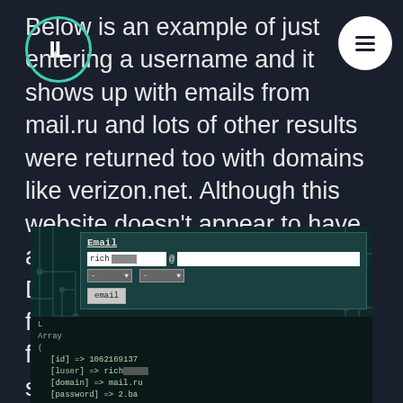Below is an example of just entering a username and it shows up with emails from mail.ru and lots of other results were returned too with domains like verizon.net. Although this website doesn't appear to have as much data as services like Dehashed, it does show you the full emails and passwords for free without needing to sign up, so it can definitely be worth checking.
[Figure (screenshot): Screenshot of a web form with Email label, input fields for username and domain, dropdown selectors, an 'email' button, and below it a PHP array output showing id=>1062169127, [user]=>rich[redacted], [domain]=>mail.ru, [password]=>2.ba[truncated]]